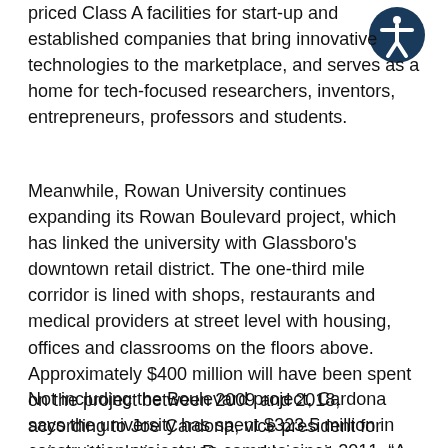priced Class A facilities for start-up and established companies that bring innovative technologies to the marketplace, and serves as a home for tech-focused researchers, inventors, entrepreneurs, professors and students.
Meanwhile, Rowan University continues expanding its Rowan Boulevard project, which has linked the university with Glassboro's downtown retail district. The one-third mile corridor is lined with shops, restaurants and medical providers at street level with housing, offices and classrooms on the floors above. Approximately $400 million will have been spent on the project between 2009 and 2018, according to Joe Cardona, vice president for university relations at Rowan University.
Not including the Boulevard project, Cardona says the university has spent $323.5 million in construction projects on campus since 2011. "A new $63.2-million business